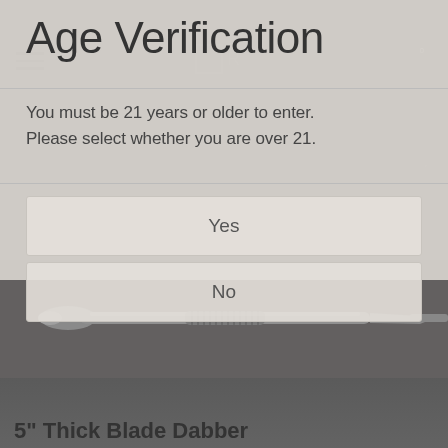Age Verification
You must be 21 years or older to enter. Please select whether you are over 21.
Yes
No
[Figure (photo): Photograph of a metal dabber tool (5" Thick Blade Dabber) shown from a side angle on a grey background]
5" Thick Blade Dabber